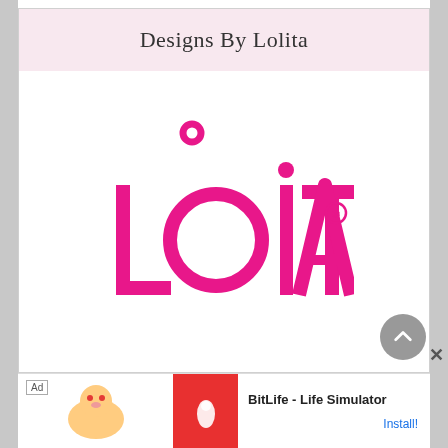Designs By Lolita
[Figure (logo): Lolita brand logo in hot pink. Large stylized text reading LOLITA with the letter O designed as a circle with a smaller circle above it like a lollipop, and a registered trademark symbol. Bold, fun typography in bright pink/magenta color on white background.]
Ad  BitLife - Life Simulator  Install!